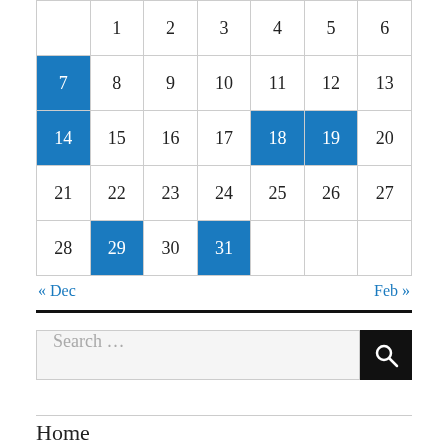|  | 1 | 2 | 3 | 4 | 5 | 6 |
| --- | --- | --- | --- | --- | --- | --- |
| 7 | 8 | 9 | 10 | 11 | 12 | 13 |
| 14 | 15 | 16 | 17 | 18 | 19 | 20 |
| 21 | 22 | 23 | 24 | 25 | 26 | 27 |
| 28 | 29 | 30 | 31 |  |  |  |
« Dec    Feb »
Search …
Home